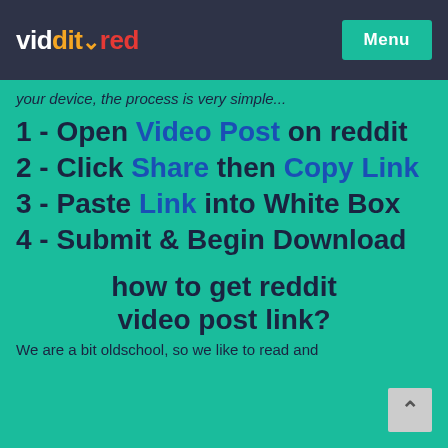viddit▾red  Menu
your device, the process is very simple...
1 - Open Video Post on reddit
2 - Click Share then Copy Link
3 - Paste Link into White Box
4 - Submit & Begin Download
how to get reddit video post link?
We are a bit oldschool, so we like to read and